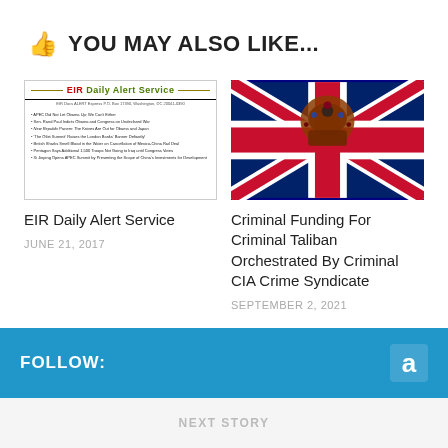👍 YOU MAY ALSO LIKE...
[Figure (screenshot): EIR Daily Alert Service newsletter thumbnail with red/green EIR brand header and bulleted article list]
[Figure (photo): UK Union Jack flag with royal crown jewel on top, dark dramatic lighting]
EIR Daily Alert Service
JUNE 21, 2017
Criminal Funding For Criminal Taliban Orchestrated By Criminal CIA Crime Syndicate
SEPTEMBER 2, 2021
FOLLOW:
[Figure (logo): Amazon 'a' logo in white on blue background]
NEXT STORY